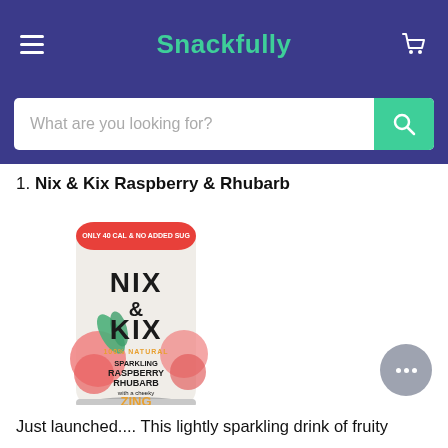Snackfully
[Figure (screenshot): Search bar with placeholder text 'What are you looking for?' and a teal search button on a dark purple background]
1. Nix & Kix Raspberry & Rhubarb
[Figure (photo): Nix & Kix Sparkling Raspberry Rhubarb drink can with red and white design, showing 'NIX & KIX 100% NATURAL SPARKLING RASPBERRY RHUBARB WITH A CHEEKY ZING' text on the can]
Just launched.... This lightly sparkling drink of fruity